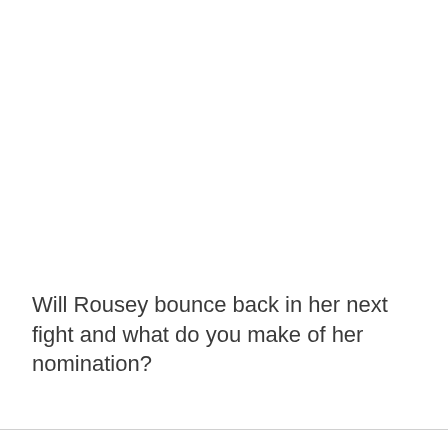Will Rousey bounce back in her next fight and what do you make of her nomination?